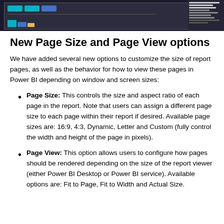[Figure (screenshot): Screenshot of a Power BI dashboard interface with teal and blue bar charts, a yellow tab, and a right-side panel with options listed.]
New Page Size and Page View options
We have added several new options to customize the size of report pages, as well as the behavior for how to view these pages in Power BI depending on window and screen sizes:
Page Size: This controls the size and aspect ratio of each page in the report. Note that users can assign a different page size to each page within their report if desired. Available page sizes are: 16:9, 4:3, Dynamic, Letter and Custom (fully control the width and height of the page in pixels).
Page View: This option allows users to configure how pages should be rendered depending on the size of the report viewer (either Power BI Desktop or Power BI service). Available options are: Fit to Page, Fit to Width and Actual Size.